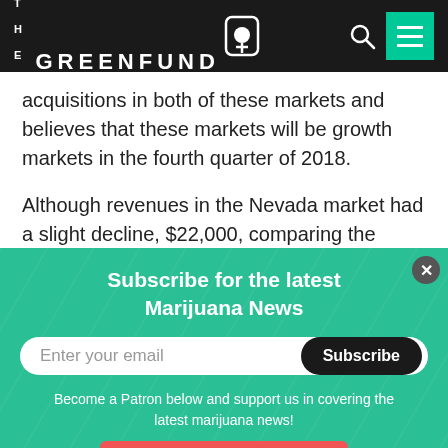THE GREENFUND
acquisitions in both of these markets and believes that these markets will be growth markets in the fourth quarter of 2018.
Although revenues in the Nevada market had a slight decline, $22,000, comparing the quarter ended September 30, 2018 to quarter ended September 30...
Subscribe for the latest Marijuana News
Enter your email
Subscribe
Become a Patron below and support us in covering the latest marijuana news!
Become a patron